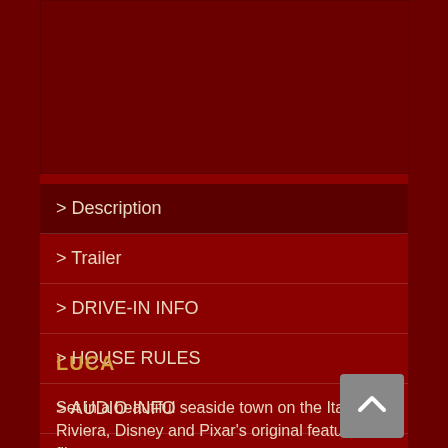[Figure (other): Dark red image placeholder area at top of page]
> Description
> Trailer
> DRIVE-IN INFO
> HOUSE RULES
> AUDIO INFO
LUCA
Set in a beautiful seaside town on the Italian Riviera, Disney and Pixar's original feature film